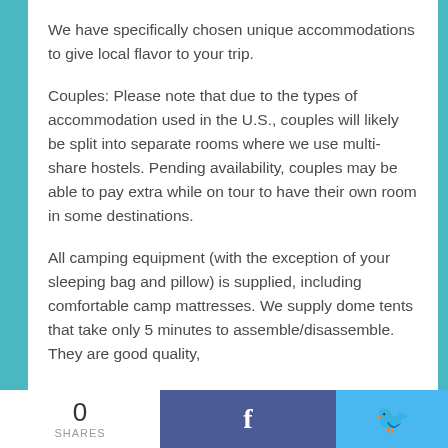We have specifically chosen unique accommodations to give local flavor to your trip.
Couples: Please note that due to the types of accommodation used in the U.S., couples will likely be split into separate rooms where we use multi-share hostels. Pending availability, couples may be able to pay extra while on tour to have their own room in some destinations.
All camping equipment (with the exception of your sleeping bag and pillow) is supplied, including comfortable camp mattresses. We supply dome tents that take only 5 minutes to assemble/disassemble. They are good quality,
0 SHARES